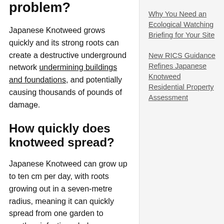problem?
Japanese Knotweed grows quickly and its strong roots can create a destructive underground network undermining buildings and foundations, and potentially causing thousands of pounds of damage.
How quickly does knotweed spread?
Japanese Knotweed can grow up to ten cm per day, with roots growing out in a seven-metre radius, meaning it can quickly spread from one garden to another, infesting whole areas.
Why You Need an Ecological Watching Briefing for Your Site
New RICS Guidance Refines Japanese Knotweed Residential Property Assessment